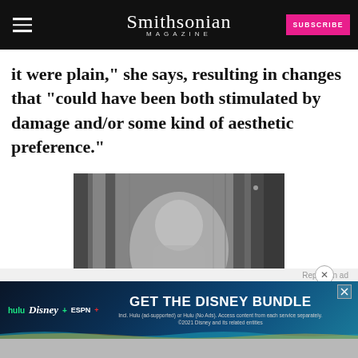Smithsonian MAGAZINE
it were plain," she says, resulting in changes that “could have been both stimulated by damage and/or some kind of aesthetic preference.”
[Figure (photo): Black and white photograph showing what appears to be a figure or painting, possibly a portrait on canvas or wall, with textured surface and vertical striped patterns]
[Figure (infographic): Disney Bundle advertisement banner showing Hulu, Disney+, and ESPN+ logos with text 'GET THE DISNEY BUNDLE'. Includes small print: 'Incl. Hulu (ad-supported) or Hulu (No Ads). Access content from each service separately. ©2021 Disney and its related entities']